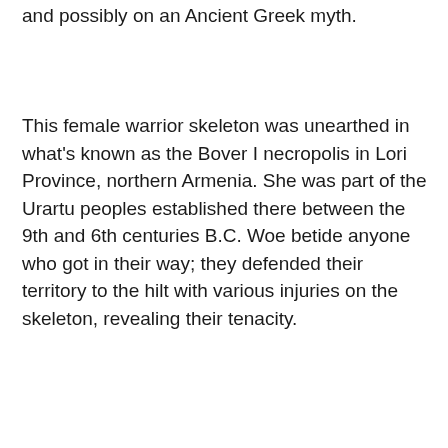and possibly on an Ancient Greek myth.
This female warrior skeleton was unearthed in what's known as the Bover I necropolis in Lori Province, northern Armenia. She was part of the Urartu peoples established there between the 9th and 6th centuries B.C. Woe betide anyone who got in their way; they defended their territory to the hilt with various injuries on the skeleton, revealing their tenacity.